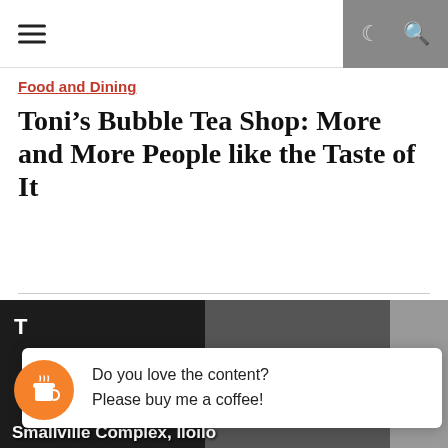navigation bar with hamburger menu and icons
Food and Dining
Toni's Bubble Tea Shop: More and More People like the Taste of It
Fri Aug 3 , 2018
Say hello to the newly-opened milk-tea place in the City of Iloilo – Toni's Bubble Tea Shop. This is a new place where Ilonggos and Ilonggos at heart can enjoy refreshing drinks that will not only satisfy your taste but also your visuals because they are crafting every drink and [...]
[Figure (photo): Photo of Toni's Bubble Tea Shop at Smallville Complex, Iloilo, partially obscured by a 'Buy me a coffee' popup overlay]
Do you love the content? Please buy me a coffee!